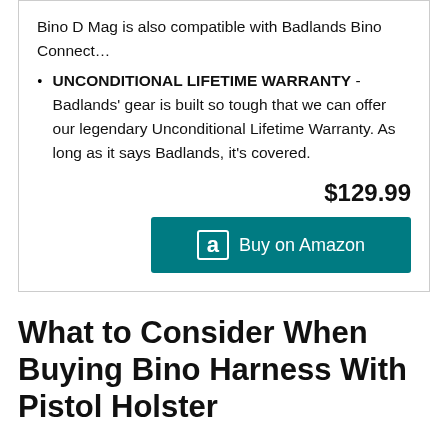Bino D Mag is also compatible with Badlands Bino Connect…
UNCONDITIONAL LIFETIME WARRANTY - Badlands' gear is built so tough that we can offer our legendary Unconditional Lifetime Warranty. As long as it says Badlands, it's covered.
$129.99
Buy on Amazon
What to Consider When Buying Bino Harness With Pistol Holster
Even deciding on an insignificant purchase can make you feel like choosing between the red pill or the blue one. But is the headache really